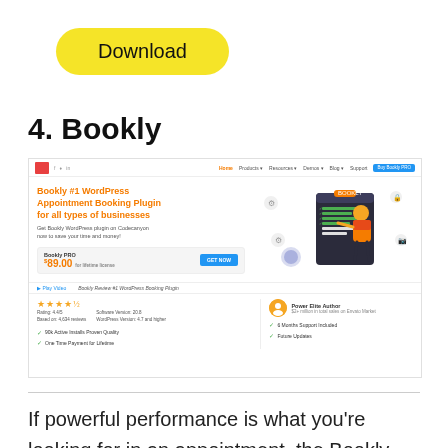[Figure (other): Yellow rounded rectangle Download button]
4. Bookly
[Figure (screenshot): Screenshot of Bookly WordPress plugin website showing hero section with orange heading 'Bookly #1 WordPress Appointment Booking Plugin for all types of businesses', price $89.00, star rating 4.4/5, Power Elite Author badge, and feature checklist]
If powerful performance is what you're looking for in an appointment, the Bookly plugin is the right choice for you. This unique plugin is